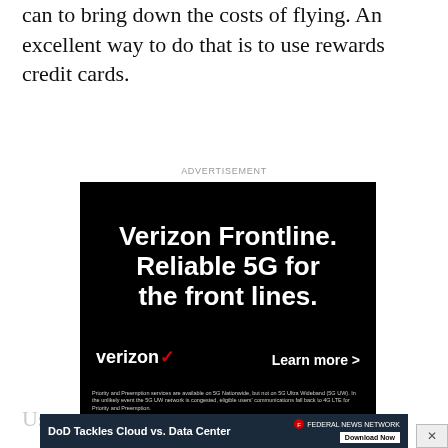can to bring down the costs of flying. An excellent way to do that is to use rewards credit cards.
ADVERTISEMENT
[Figure (photo): Verizon Frontline advertisement on black background with text: 'Verizon Frontline. Reliable 5G for the front lines.' with Verizon logo and 'Learn more >' button, plus fine print about Priority and Preemption services.]
Use r
[Figure (screenshot): Federal News Network banner ad: 'DoD Tackles Cloud vs. Data Center' with Download Now button]